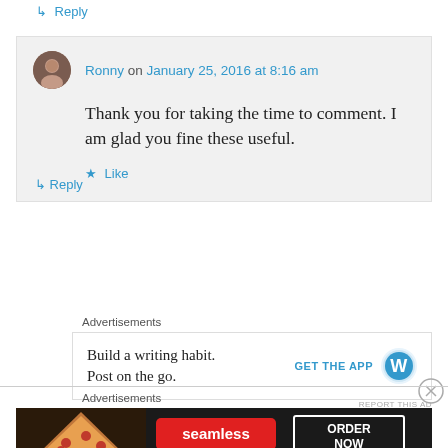↳ Reply
Ronny on January 25, 2016 at 8:16 am
Thank you for taking the time to comment. I am glad you fine these useful.
★ Like
↳ Reply
Advertisements
[Figure (infographic): WordPress app advertisement banner: 'Build a writing habit. Post on the go.' with GET THE APP button and WordPress logo]
REPORT THIS AD
Advertisements
[Figure (infographic): Seamless food delivery advertisement with pizza image, Seamless logo in red, ORDER NOW button in white border on dark background]